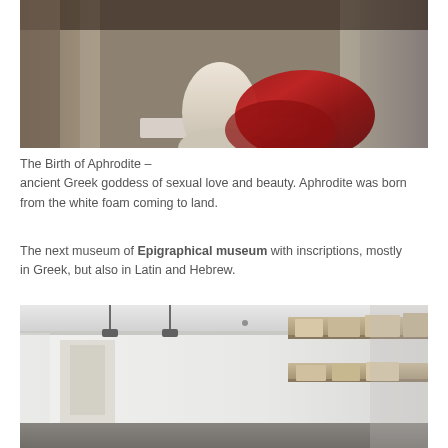[Figure (photo): A marble statue representing the Birth of Aphrodite, shown from the lower body down, on a white platform. Red/crimson draped fabric is beside the statue. Beige curtains/fabric hang in the background.]
The Birth of Aphrodite – ancient Greek goddess of sexual love and beauty. Aphrodite was born from the white foam coming to land.
The next museum of Epigraphical museum with inscriptions, mostly in Greek, but also in Latin and Hebrew.
[Figure (photo): Interior of the Epigraphical museum showing white walls with ceiling tracks, stone inscriptions mounted on shelves along the right wall, and a gallery corridor.]